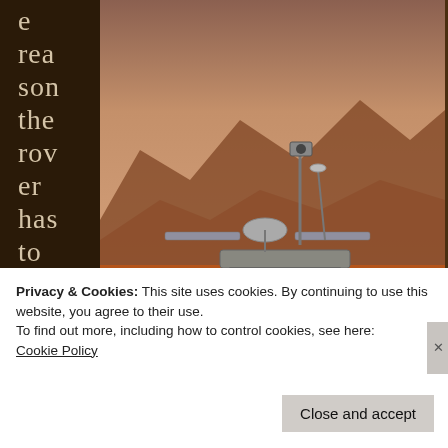e reason the rover has to be "live"
[Figure (photo): Photo of Mars rover on the Martian surface, with reddish rocky terrain and hazy sky in the background.]
impacts the second flaw in calculated operational planning. Why the rover's roaming camera has been periodically shut down and
Privacy & Cookies: This site uses cookies. By continuing to use this website, you agree to their use.
To find out more, including how to control cookies, see here:
Cookie Policy